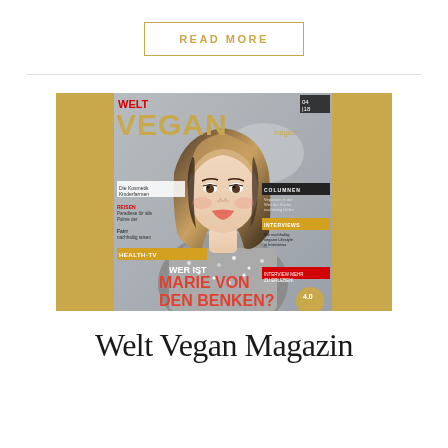READ MORE
[Figure (photo): Magazine cover of Welt Vegan Magazin featuring a woman with blonde hair wearing a sequined outfit, with the text 'WER IST MARIE VON DEN BENKEN?' on the cover, displayed against a gold background.]
Welt Vegan Magazin